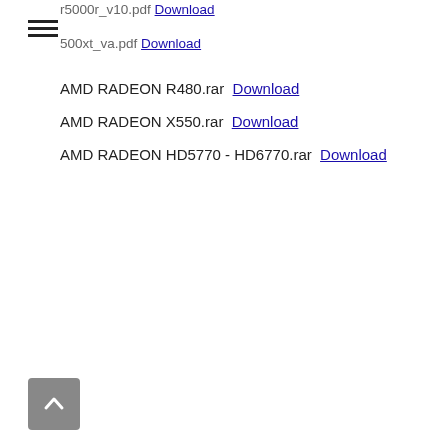r5000r_v10.pdf Download
500xt_va.pdf Download
AMD RADEON R480.rar Download
AMD RADEON X550.rar Download
AMD RADEON HD5770 - HD6770.rar Download